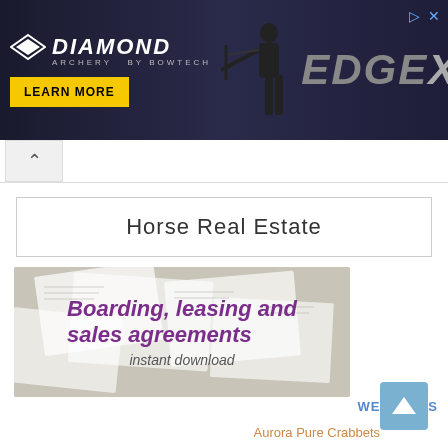[Figure (illustration): Diamond Archery EdgeXT advertisement banner with dark background, archer silhouette, 'EDGE XT' text in grey, Diamond Archery logo, and yellow 'LEARN MORE' button]
[Figure (illustration): Collapse/chevron up button UI element]
Horse Real Estate
[Figure (illustration): Advertisement banner for horse legal agreements with background of overlapping paper documents. Text reads 'Boarding, leasing and sales agreements' in bold purple italic, and 'instant download' below in grey italic]
WEB SITES
Aurora Pure Crabbets